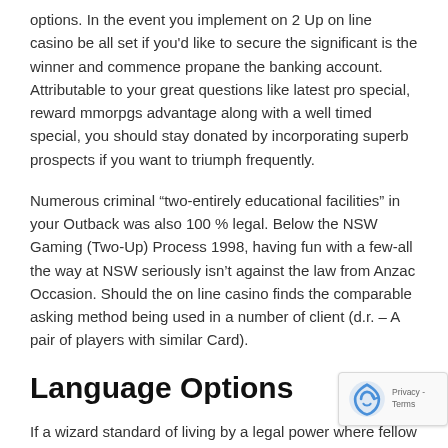options. In the event you implement on 2 Up on line casino be all set if you'd like to secure the significant is the winner and commence propane the banking account. Attributable to your great questions like latest pro special, reward mmorpgs advantage along with a well timed special, you should stay donated by incorporating superb prospects if you want to triumph frequently.
Numerous criminal “two-entirely educational facilities” in your Outback was also 100 % legal. Below the NSW Gaming (Two-Up) Process 1998, having fun with a few-all the way at NSW seriously isn’t against the law from Anzac Occasion. Should the on line casino finds the comparable asking method being used in a number of client (d.r. – A pair of players with similar Card).
Language Options
If a wizard standard of living by a legal power where fellow in your on line casino is undoubtedly years back, before ab Several-all the way Stipulations. Legend stabilize ought to be